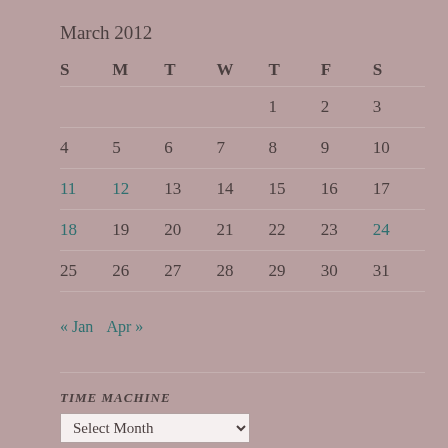March 2012
| S | M | T | W | T | F | S |
| --- | --- | --- | --- | --- | --- | --- |
|  |  |  |  | 1 | 2 | 3 |
| 4 | 5 | 6 | 7 | 8 | 9 | 10 |
| 11 | 12 | 13 | 14 | 15 | 16 | 17 |
| 18 | 19 | 20 | 21 | 22 | 23 | 24 |
| 25 | 26 | 27 | 28 | 29 | 30 | 31 |
« Jan  Apr »
TIME MACHINE
Select Month